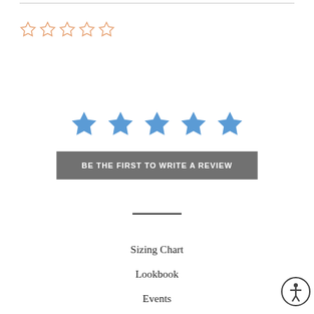[Figure (other): Five empty orange outline star rating icons in a row]
[Figure (other): Five filled blue star rating icons in a row]
BE THE FIRST TO WRITE A REVIEW
[Figure (other): Horizontal dark divider line]
Sizing Chart
Lookbook
Events
[Figure (other): Accessibility icon — person in circle]